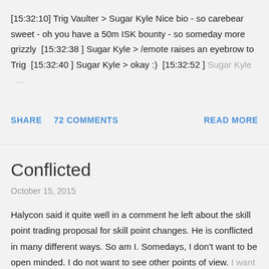[15:32:10] Trig Vaulter > Sugar Kyle Nice bio - so carebear sweet - oh you have a 50m ISK bounty - so someday more grizzly  [15:32:38 ] Sugar Kyle > /emote raises an eyebrow to Trig  [15:32:40 ] Sugar Kyle > okay :)  [15:32:52 ] Sugar Kyle  ...
SHARE   72 COMMENTS   READ MORE
Conflicted
October 15, 2015
Halycon said it quite well in a comment he left about the skill point trading proposal for skill point changes. He is conflicted in many different ways. So am I. Somedays, I don't want to be open minded. I do not want to see other points of view. I want ...